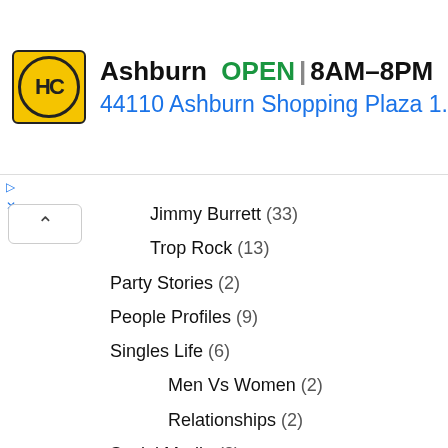[Figure (screenshot): Advertisement banner for HC store in Ashburn. Yellow logo with HC in circle, showing OPEN 8AM-8PM and address 44110 Ashburn Shopping Plaza 1. with blue navigation arrow icon.]
Jimmy Burrett (33)
Trop Rock (13)
Party Stories (2)
People Profiles (9)
Singles Life (6)
Men Vs Women (2)
Relationships (2)
Social Media (2)
Spirits (25)
Travel (639)
Airlines (30)
Blogger (363)
Cruise Ships (19)
Hotels (14)